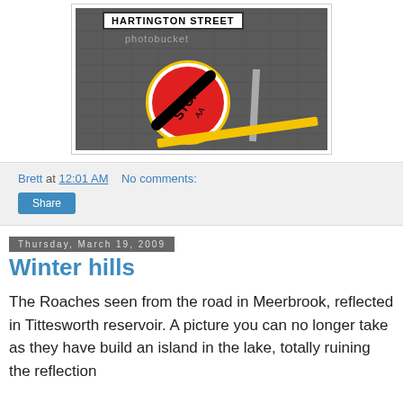[Figure (photo): A fallen British stop sign (red circle with diagonal bar) leaning against a dark stone wall, with a 'HARTINGTON STREET' street sign above and a yellow barrier across the bottom. Photobucket watermark visible.]
Brett at 12:01 AM   No comments:
Share
Thursday, March 19, 2009
Winter hills
The Roaches seen from the road in Meerbrook, reflected in Tittesworth reservoir. A picture you can no longer take as they have build an island in the lake, totally ruining the reflection